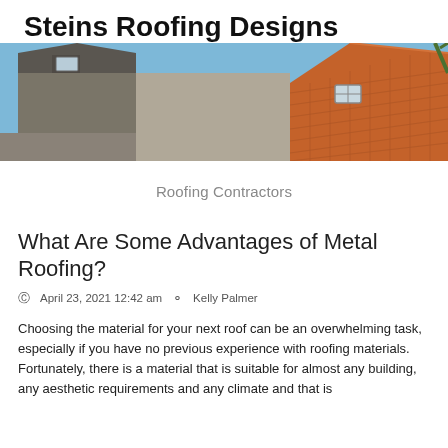Steins Roofing Designs
[Figure (photo): Photograph of a building rooftop with terracotta/clay tile roofing on one section and dark slate-style roofing on another section, with a skylight window visible, blue sky in background]
Roofing Contractors
What Are Some Advantages of Metal Roofing?
April 23, 2021 12:42 am   Kelly Palmer
Choosing the material for your next roof can be an overwhelming task, especially if you have no previous experience with roofing materials. Fortunately, there is a material that is suitable for almost any building, any aesthetic requirements and any climate and that is